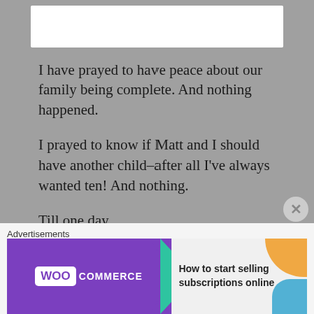[Figure (photo): Partial image visible at top of page, white rectangular area on gray background]
I have prayed to have peace about our family being complete. And nothing happened.
I prayed to know if Matt and I should have another child–after all I've always wanted ten! And nothing.
Till one day.
It finally happened!!!
Advertisements
[Figure (screenshot): WooCommerce advertisement banner: 'How to start selling subscriptions online']